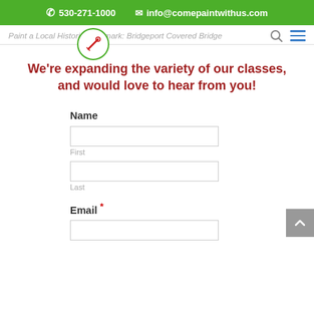530-271-1000   info@comepaintwithus.com
Paint a Local Historic Landmark: Bridgeport Covered Bridge
We're expanding the variety of our classes, and would love to hear from you!
Name
First
Last
Email *